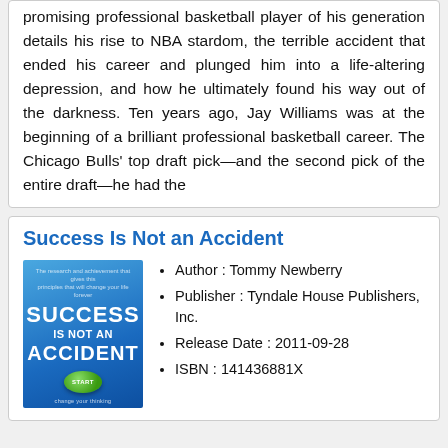promising professional basketball player of his generation details his rise to NBA stardom, the terrible accident that ended his career and plunged him into a life-altering depression, and how he ultimately found his way out of the darkness. Ten years ago, Jay Williams was at the beginning of a brilliant professional basketball career. The Chicago Bulls' top draft pick—and the second pick of the entire draft—he had the
Success Is Not an Accident
[Figure (illustration): Book cover for 'Success Is Not an Accident' with blue background, large white bold text, and a green start button in the center.]
Author : Tommy Newberry
Publisher : Tyndale House Publishers, Inc.
Release Date : 2011-09-28
ISBN : 141436881X